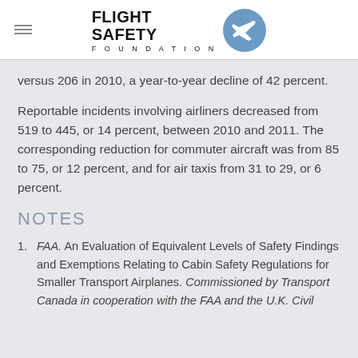FLIGHT SAFETY FOUNDATION
versus 206 in 2010, a year-to-year decline of 42 percent.
Reportable incidents involving airliners decreased from 519 to 445, or 14 percent, between 2010 and 2011. The corresponding reduction for commuter aircraft was from 85 to 75, or 12 percent, and for air taxis from 31 to 29, or 6 percent.
NOTES
FAA. An Evaluation of Equivalent Levels of Safety Findings and Exemptions Relating to Cabin Safety Regulations for Smaller Transport Airplanes. Commissioned by Transport Canada in cooperation with the FAA and the U.K. Civil